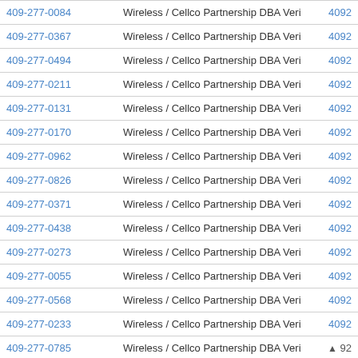| Phone Number | Carrier | Code |
| --- | --- | --- |
| 409-277-0084 | Wireless / Cellco Partnership DBA Verizon Wireless | 4092 |
| 409-277-0367 | Wireless / Cellco Partnership DBA Verizon Wireless | 4092 |
| 409-277-0494 | Wireless / Cellco Partnership DBA Verizon Wireless | 4092 |
| 409-277-0211 | Wireless / Cellco Partnership DBA Verizon Wireless | 4092 |
| 409-277-0131 | Wireless / Cellco Partnership DBA Verizon Wireless | 4092 |
| 409-277-0170 | Wireless / Cellco Partnership DBA Verizon Wireless | 4092 |
| 409-277-0962 | Wireless / Cellco Partnership DBA Verizon Wireless | 4092 |
| 409-277-0826 | Wireless / Cellco Partnership DBA Verizon Wireless | 4092 |
| 409-277-0371 | Wireless / Cellco Partnership DBA Verizon Wireless | 4092 |
| 409-277-0438 | Wireless / Cellco Partnership DBA Verizon Wireless | 4092 |
| 409-277-0273 | Wireless / Cellco Partnership DBA Verizon Wireless | 4092 |
| 409-277-0055 | Wireless / Cellco Partnership DBA Verizon Wireless | 4092 |
| 409-277-0568 | Wireless / Cellco Partnership DBA Verizon Wireless | 4092 |
| 409-277-0233 | Wireless / Cellco Partnership DBA Verizon Wireless | 4092 |
| 409-277-0785 | Wireless / Cellco Partnership DBA Verizon Wireless | ▲ 92 |
| 409-277-0959 | Wireless / Cellco Partnership DBA Verizon Wireless | ,092 |
| 409-277-0274 | Wireless / Cellco Partnership DBA Verizon Wireless | 4092 |
| 409-277-0403 | Wireless / Cellco Partnership DBA Verizon Wireless | 4092 |